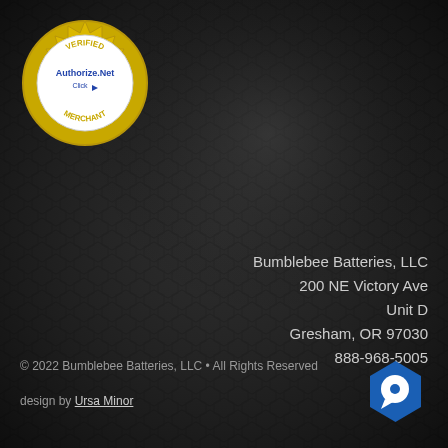[Figure (logo): Authorize.Net Verified Merchant badge - gold circular seal with blue Authorize.Net text and 'VERIFIED MERCHANT Click' text]
Bumblebee Batteries, LLC
200 NE Victory Ave
Unit D
Gresham, OR 97030
888-968-5005
© 2022 Bumblebee Batteries, LLC • All Rights Reserved
design by Ursa Minor
[Figure (logo): Blue hexagon chat bubble icon]